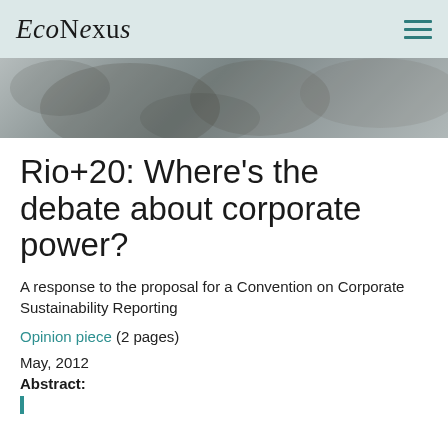EcoNexus
[Figure (photo): Hero image with muted grey-green textured background resembling bark or foliage]
Rio+20: Where's the debate about corporate power?
A response to the proposal for a Convention on Corporate Sustainability Reporting
Opinion piece (2 pages)
May, 2012
Abstract: